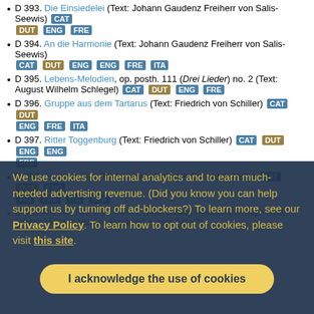D 393. Die Einsiedelei (Text: Johann Gaudenz Freiherr von Salis-Seewis) CAT DUT ENG FRE
D 394. An die Harmonie (Text: Johann Gaudenz Freiherr von Salis-Seewis) CAT DUT ENG ENG FRE ITA
D 395. Lebens-Melodien, op. posth. 111 (Drei Lieder) no. 2 (Text: August Wilhelm Schlegel) CAT DUT ENG FRE
D 396. Gruppe aus dem Tartarus (Text: Friedrich von Schiller) CAT DUT ENG FRE ITA
D 397. Ritter Toggenburg (Text: Friedrich von Schiller) CAT DUT ENG ENG FRE
D 398. Frühlingslied (Text: Ludwig Heinrich Christoph Hölty) CAT DUT ENG FIN FRE ITA SPA
D 399. Aus des Todes Nachlass II (Text: Ludwig Heinrich Christoph Hölty; Johann Heinrich Voss or Alexander Fraser Tytler?)
We use cookies for internal analytics and to earn much-needed advertising revenue. (Did you know you can help support us by turning off ad-blockers?) To learn more, see our Privacy Policy. To learn how to opt out of cookies, please visit this site.
I acknowledge the use of cookies